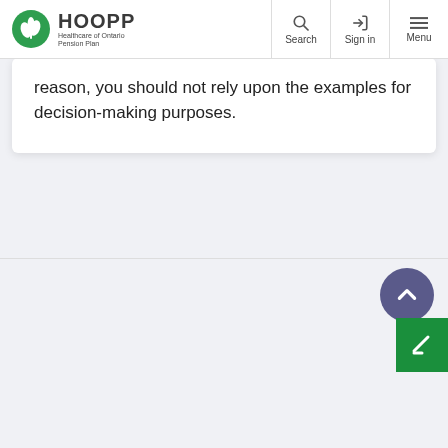HOOPP Healthcare of Ontario Pension Plan | Search | Sign in | Menu
reason, you should not rely upon the examples for decision-making purposes.
HOOPP | Social links: Twitter, Facebook, LinkedIn, YouTube | Members | Contact Us | Privacy | Employers | Careers | Accessibility